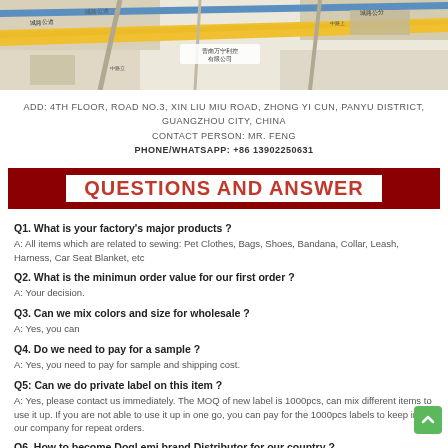[Figure (map): Map showing location of factory in Guangzhou, China with roads and street labels]
ADD: 4TH FLOOR, ROAD NO.3, XIN LIU MIU ROAD, ZHONG YI CUN, PANYU DISTRICT, GUANGZHOU CITY, CHINA
CONTACT PERSON: MR. FENG
PHONE/WHATSAPP: +86 13902250631
QUESTIONS AND ANSWER
Q1. What is your factory's major products ?
A: All items which are related to sewing: Pet Clothes, Bags, Shoes, Bandana, Collar, Leash, Harness, Car Seat Blanket, etc
Q2. What is the minimun order value for our first order ?
A: Your decision.
Q3. Can we mix colors and size for wholesale ?
A: Yes, you can
Q4. Do we need to pay for a sample ?
A: Yes, you need to pay for sample and shipping cost.
Q5: Can we do private label on this item ?
A: Yes, please contact us immediately. The MOQ of new label is 1000pcs, can mix different items to use it up. If you are not able to use it up in one go, you can pay for the 1000pcs labels to keep in our company for repeat orders.
Q6. How to become Dogl emi brand Distributor for our country ?